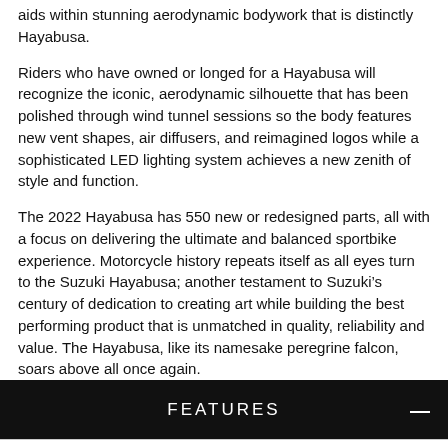aids within stunning aerodynamic bodywork that is distinctly Hayabusa.
Riders who have owned or longed for a Hayabusa will recognize the iconic, aerodynamic silhouette that has been polished through wind tunnel sessions so the body features new vent shapes, air diffusers, and reimagined logos while a sophisticated LED lighting system achieves a new zenith of style and function.
The 2022 Hayabusa has 550 new or redesigned parts, all with a focus on delivering the ultimate and balanced sportbike experience. Motorcycle history repeats itself as all eyes turn to the Suzuki Hayabusa; another testament to Suzuki’s century of dedication to creating art while building the best performing product that is unmatched in quality, reliability and value. The Hayabusa, like its namesake peregrine falcon, soars above all once again.
FEATURES